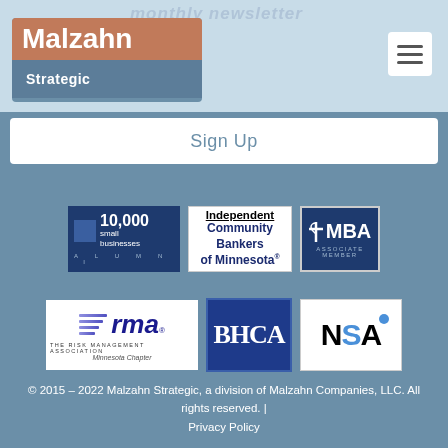monthly newsletter
[Figure (logo): Malzahn Strategic company logo with copper/brown top bar and steel blue bottom bar]
Sign Up
[Figure (logo): Goldman Sachs 10,000 Small Businesses Alumni badge]
[Figure (logo): Independent Community Bankers of Minnesota logo]
[Figure (logo): TMBA Associate Member badge]
[Figure (logo): RMA - The Risk Management Association, Minnesota Chapter logo]
[Figure (logo): BHCA logo]
[Figure (logo): NSA logo]
© 2015 – 2022 Malzahn Strategic, a division of Malzahn Companies, LLC. All rights reserved. | Privacy Policy